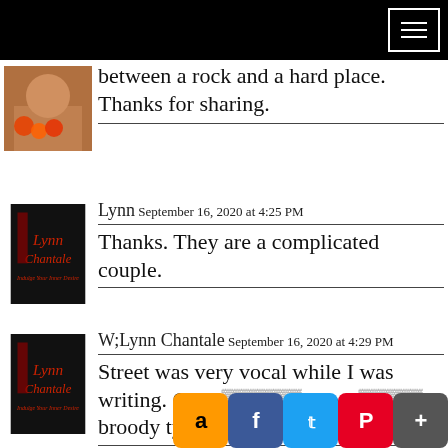between a rock and a hard place. Thanks for sharing.
Lynn September 16, 2020 at 4:25 PM
Thanks. They are a complicated couple.
W;Lynn Chantale September 16, 2020 at 4:29 PM
Street was very vocal while I was writing. Gotta love those broody types.